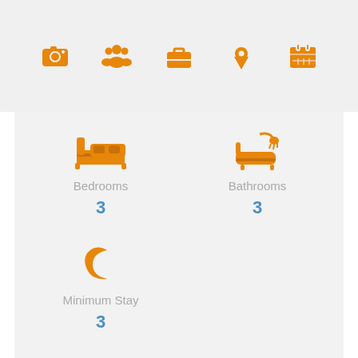[Figure (infographic): Top navigation bar with 5 orange icons: camera, group of people, briefcase, map pin, calendar]
[Figure (infographic): Property info card showing Bedrooms=3, Bathrooms=3, Minimum Stay=3 with icons]
PROPERTY Description